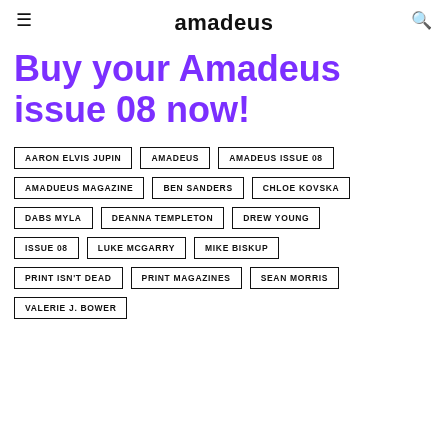amadeus
Buy your Amadeus issue 08 now!
AARON ELVIS JUPIN
AMADEUS
AMADEUS ISSUE 08
AMADUEUS MAGAZINE
BEN SANDERS
CHLOE KOVSKA
DABS MYLA
DEANNA TEMPLETON
DREW YOUNG
ISSUE 08
LUKE MCGARRY
MIKE BISKUP
PRINT ISN'T DEAD
PRINT MAGAZINES
SEAN MORRIS
VALERIE J. BOWER